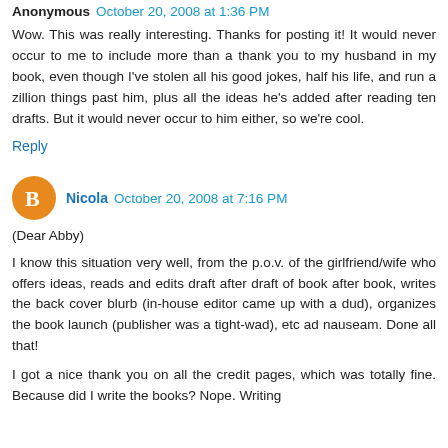Anonymous October 20, 2008 at 1:36 PM
Wow. This was really interesting. Thanks for posting it! It would never occur to me to include more than a thank you to my husband in my book, even though I've stolen all his good jokes, half his life, and run a zillion things past him, plus all the ideas he's added after reading ten drafts. But it would never occur to him either, so we're cool.
Reply
Nicola October 20, 2008 at 7:16 PM
(Dear Abby)
I know this situation very well, from the p.o.v. of the girlfriend/wife who offers ideas, reads and edits draft after draft of book after book, writes the back cover blurb (in-house editor came up with a dud), organizes the book launch (publisher was a tight-wad), etc ad nauseam. Done all that!
I got a nice thank you on all the credit pages, which was totally fine. Because did I write the books? Nope. Writing